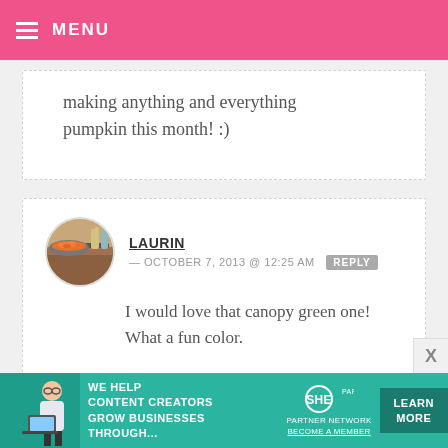MENU
making anything and everything pumpkin this month! :)
LAURIN — OCTOBER 7, 2013 @ 12:25 AM  REPLY
I would love that canopy green one! What a fun color.
CORAL RAMIREZ — OCTOBER 7, 2013 @ 12:25 AM  REPLY
[Figure (photo): Advertisement banner: SHE Partner Network. Text: WE HELP CONTENT CREATORS GROW BUSINESSES THROUGH... with LEARN MORE button]